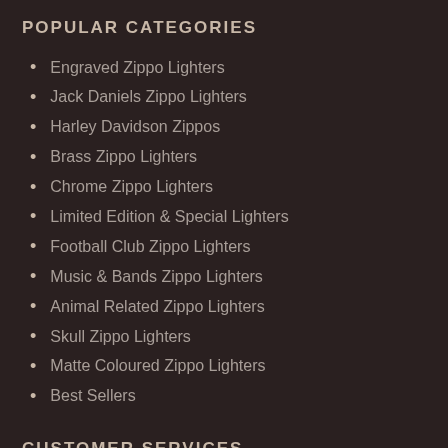POPULAR CATEGORIES
Engraved Zippo Lighters
Jack Daniels Zippo Lighters
Harley Davidson Zippos
Brass Zippo Lighters
Chrome Zippo Lighters
Limited Edition & Special Lighters
Football Club Zippo Lighters
Music & Bands Zippo Lighters
Animal Related Zippo Lighters
Skull Zippo Lighters
Matte Coloured Zippo Lighters
Best Sellers
CUSTOMER SERVICES
Delivery Information
Returns, Refunds & Exchanges
Contact Us